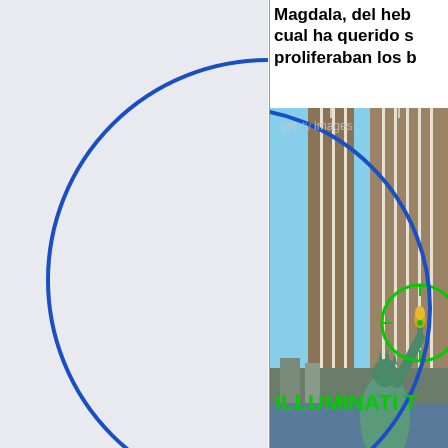[Figure (other): Left panel with light blue-grey background, partially visible blue circle arc on right side]
Magdala, del heb cual ha querido s proliferaban los b
[Figure (photo): Photo of the Twin Towers (World Trade Center) with the Statue of Liberty in the foreground, overlaid with a green circle targeting the torch of the statue, green text 'ILLUMINATI T' at the bottom, and a blue circle arc. Getty Images watermark visible at top.]